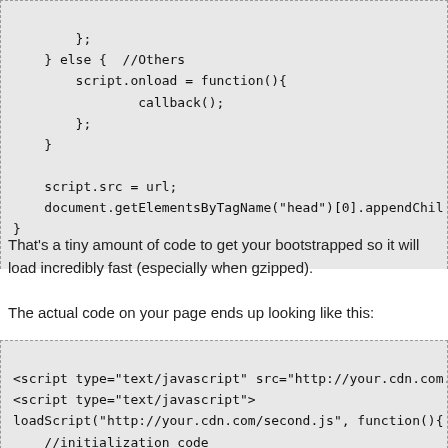};
    } else {  //Others
        script.onload = function(){
                callback();
        };
    }

    script.src = url;
    document.getElementsByTagName("head")[0].appendChil
}
That's a tiny amount of code to get your bootstrapped so it will load incredibly fast (especially when gzipped).
The actual code on your page ends up looking like this:
<script type="text/javascript" src="http://your.cdn.com.
<script type="text/javascript">
loadScript("http://your.cdn.com/second.js", function(){
    //initialization code